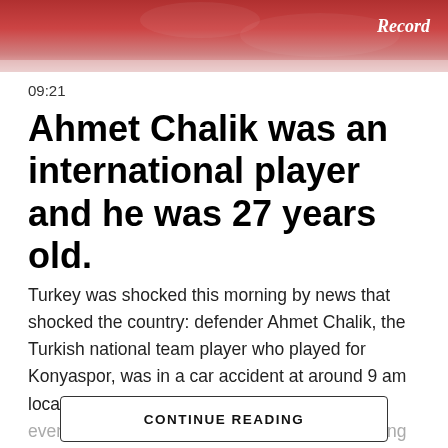[Figure (photo): Red-toned sports action photo header with Record logo watermark in top right]
09:21
Ahmet Chalik was an international player and he was 27 years old.
Turkey was shocked this morning by news that shocked the country: defender Ahmet Chalik, the Turkish national team player who played for Konyaspor, was in a car accident at around 9 am local time on the highway in Ankara and was eventually killed. He was 27 years old. According to Turkish media reports, the car in which the player was traveling overturned and flew off the road. Accordi...
CONTINUE READING